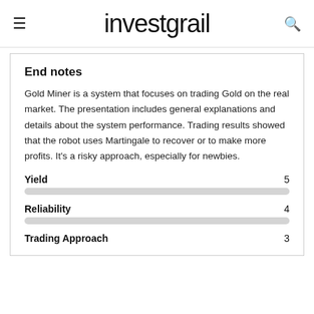investgrail
End notes
Gold Miner is a system that focuses on trading Gold on the real market. The presentation includes general explanations and details about the system performance. Trading results showed that the robot uses Martingale to recover or to make more profits. It's a risky approach, especially for newbies.
Yield  5
Reliability  4
Trading Approach  3